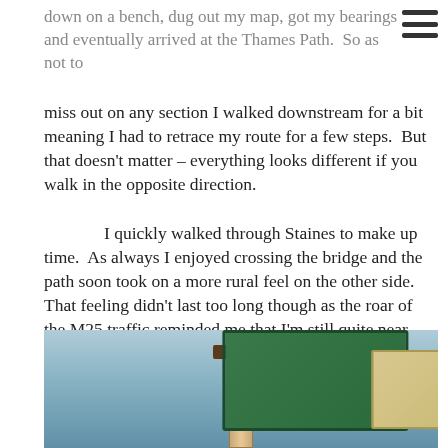down on a bench, dug out my map, got my bearings and eventually arrived at the Thames Path.  So as not to miss out on any section I walked downstream for a bit meaning I had to retrace my route for a few steps.  But that doesn't matter – everything looks different if you walk in the opposite direction.
I quickly walked through Staines to make up time.  As always I enjoyed crossing the bridge and the path soon took on a more rural feel on the other side.  That feeling didn't last too long though as the roar of the M25 traffic reminded me that I'm still quite near London.  Something I don't like is walking underneath a busy road bridge.  The noise, the graffiti and dim light feels a little menacing.  Glad I reached the other side
[Figure (photo): Photo of a Thames Path wooden signpost with green and tan/cream sign boards, taken from below looking up against a light sky background.]